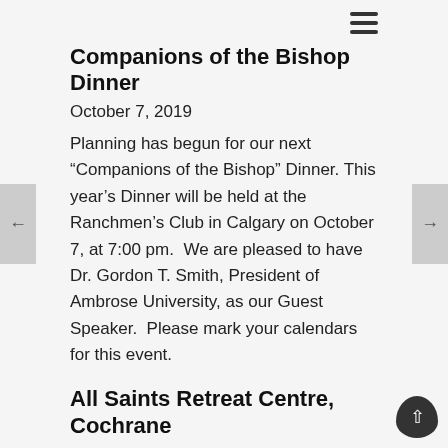Companions of the Bishop Dinner
October 7, 2019
Planning has begun for our next “Companions of the Bishop” Dinner. This year’s Dinner will be held at the Ranchmen’s Club in Calgary on October 7, at 7:00 pm.  We are pleased to have Dr. Gordon T. Smith, President of Ambrose University, as our Guest Speaker.  Please mark your calendars for this event.
All Saints Retreat Centre, Cochrane
The All Saints Family Centre Society is a registered non-profit society connected to All Saints Anglican Church in Cochrane, providing community outreach. We offer a variety of courses, workshops and retreats, as well as space for rent for courses, speakers and retreat days.  For more information or a tour of the facility, please contact Elizabeth Shortt at (403) 660